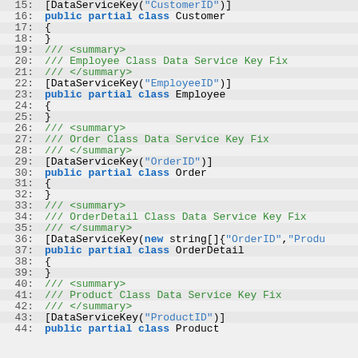[Figure (screenshot): Code editor screenshot showing C# code with line numbers 15-44, featuring DataServiceKey attributes and public partial class declarations for Customer, Employee, Order, OrderDetail, and Product classes, with XML doc comments in green and keywords in blue.]